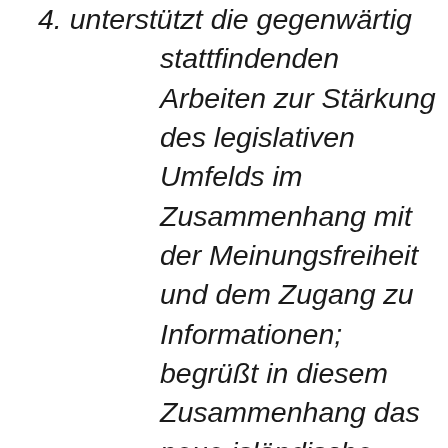4. unterstützt die gegenwärtig stattfindenden Arbeiten zur Stärkung des legislativen Umfelds im Zusammenhang mit der Meinungsfreiheit und dem Zugang zu Informationen; begrüßt in diesem Zusammenhang das neue isländische Mediengesetz (Icelandic Modern Media Initiative ), das es sowohl Island als auch der EU ermöglicht, sich im Hinblick